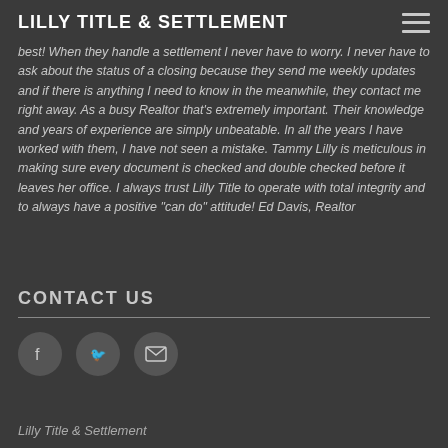LILLY TITLE & SETTLEMENT
best! When they handle a settlement I never have to worry. I never have to ask about the status of a closing because they send me weekly updates and if there is anything I need to know in the meanwhile, they contact me right away. As a busy Realtor that's extremely important. Their knowledge and years of experience are simply unbeatable. In all the years I have worked with them, I have not seen a mistake. Tammy Lilly is meticulous in making sure every document is checked and double checked before it leaves her office. I always trust Lilly Title to operate with total integrity and to always have a positive "can do" attitude! Ed Davis, Realtor
CONTACT US
[Figure (other): Social media icons: Facebook, Twitter, Email]
Lilly Title & Settlement